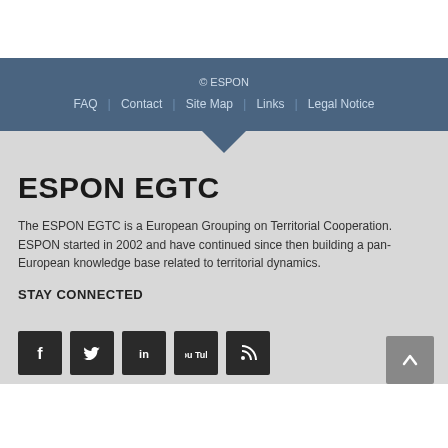© ESPON | FAQ | Contact | Site Map | Links | Legal Notice
ESPON EGTC
The ESPON EGTC is a European Grouping on Territorial Cooperation. ESPON started in 2002 and have continued since then building a pan-European knowledge base related to territorial dynamics.
STAY CONNECTED
[Figure (illustration): Row of social media icon buttons: Facebook, Twitter, LinkedIn, YouTube, RSS feed. A back-to-top button with upward arrow on the right.]